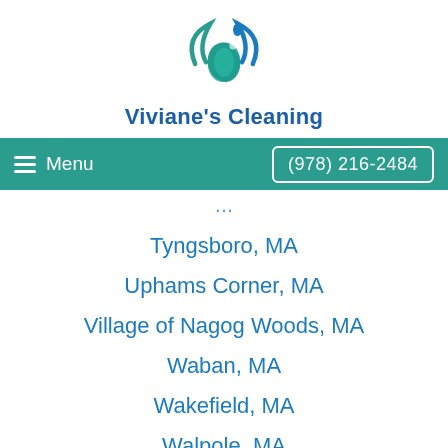[Figure (logo): Viviane's Cleaning company logo — a circular swoosh design in teal/blue with a leaf and water droplet motif]
Viviane's Cleaning
Menu   (978) 216-2484
Tyngsboro, MA
Uphams Corner, MA
Village of Nagog Woods, MA
Waban, MA
Wakefield, MA
Walpole, MA
Waltham, MA
Ward Hill, MA
Watertown, MA
Waverley, MA